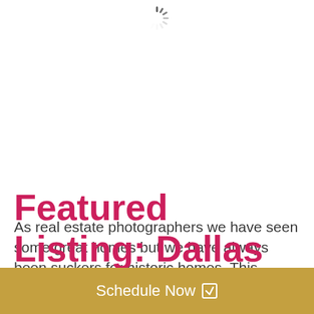[Figure (other): Loading spinner graphic at the top center of the page]
As real estate photographers we have seen some great homes but we have always been suckers for historic homes. This McKinney home offers everything you look for in a preservered home. Large front patio, hard wood floors, detailed molding, shiplap and more. What I love best about this home is how the guest house in [...]
Featured Listing: Dallas Eccentric Home
Schedule Now